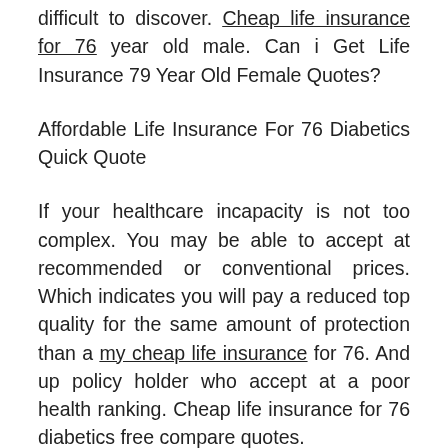difficult to discover. Cheap life insurance for 76 year old male. Can i Get Life Insurance 79 Year Old Female Quotes?
Affordable Life Insurance For 76 Diabetics Quick Quote
If your healthcare incapacity is not too complex. You may be able to accept at recommended or conventional prices. Which indicates you will pay a reduced top quality for the same amount of protection than a my cheap life insurance for 76. And up policy holder who accept at a poor health ranking. Cheap life insurance for 76 diabetics free compare quotes.
Extra protection period